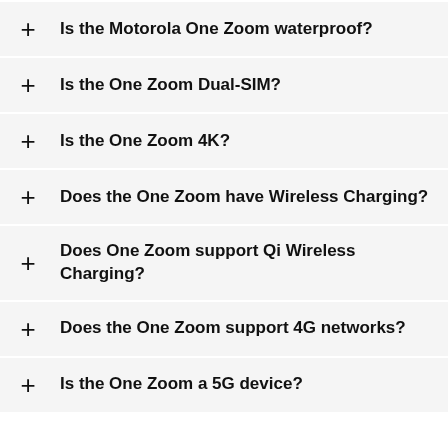Is the Motorola One Zoom waterproof?
Is the One Zoom Dual-SIM?
Is the One Zoom 4K?
Does the One Zoom have Wireless Charging?
Does One Zoom support Qi Wireless Charging?
Does the One Zoom support 4G networks?
Is the One Zoom a 5G device?